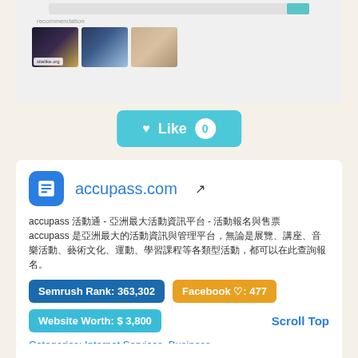[Figure (screenshot): Screenshot of accupass.com website showing recommendation section with three thumbnail images and a sitelike.org watermark]
♥ Like 0
accupass.com (external link icon)
accupass 活動通 - 亞洲最大活動資訊平台 - 活動報名與售票
accupass 是亞洲最大的活動資訊與管理平台，無論是展覽、講座、音樂活動、藝術文化、運動、學習課程等各類型活動，都可以在此查詢報名。
Semrush Rank: 363,302
Facebook ♡: 477
Website Worth: $ 3,800
Scroll Top
Categories: Internet Services, Business
Is it similar? Yes 0 No 0